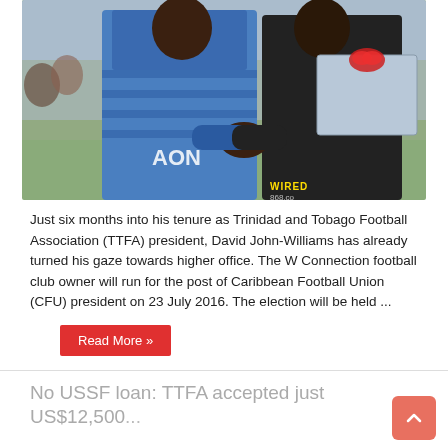[Figure (photo): Two men shaking hands outdoors. The man on the left wears a blue Manchester United AON jersey. The man on the right, dressed in black, holds a framed gift with a red bow. A WIRED868 watermark is visible at the bottom right.]
Just six months into his tenure as Trinidad and Tobago Football Association (TTFA) president, David John-Williams has already turned his gaze towards higher office. The W Connection football club owner will run for the post of Caribbean Football Union (CFU) president on 23 July 2016. The election will be held ...
Read More »
No USSF loan: TTFA accepted just US$12,500